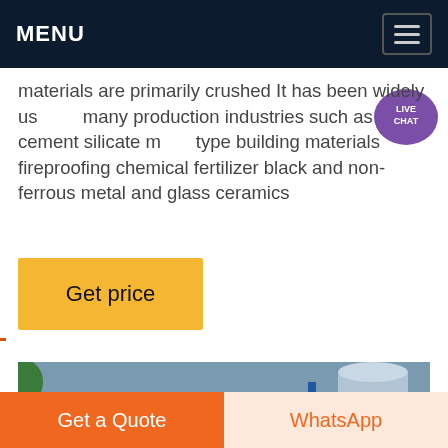MENU
materials are primarily crushed It has been widely used in many production industries such as cement silicate new type building materials fireproofing chemical fertilizer black and non-ferrous metal and glass ceramics
Get price
[Figure (photo): Aerial view of an industrial facility with blue metal structures, pipes, silos and processing equipment at a construction/mining site]
Get a Quote
WhatsApp